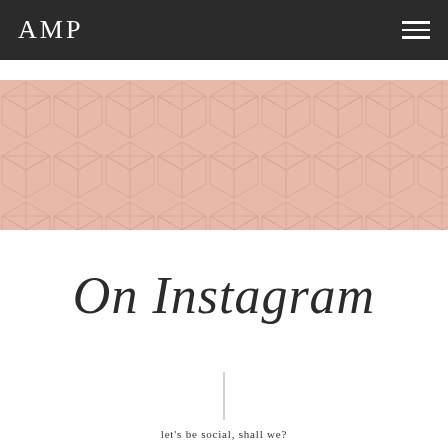AMP
[Figure (illustration): Decorative geometric hexagon/cube pattern band in dusty rose/salmon pink color]
On Instagram
let's be social, shall we?